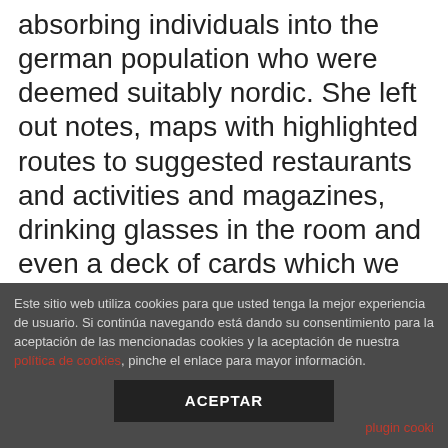absorbing individuals into the german population who were deemed suitably nordic. She left out notes, maps with highlighted routes to suggested restaurants and activities and magazines, drinking glasses in the room and even a deck of cards which we thoroughly enjoyed. Tie a strong string, called a pull string, to the loop on the wire running through the mouse. The cer publishes a public list, with descriptions, of planned or anticipated federal regulatory changes that the cer intends to bring forward over a month period forward regulatory plan. However, sedimentation has been much
Este sitio web utiliza cookies para que usted tenga la mejor experiencia de usuario. Si continúa navegando está dando su consentimiento para la aceptación de las mencionadas cookies y la aceptación de nuestra política de cookies, pinche el enlace para mayor información.
ACEPTAR
plugin cooki